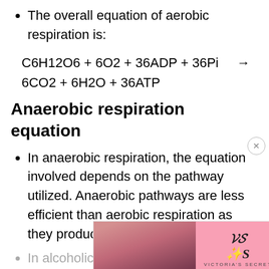The overall equation of aerobic respiration is:
Anaerobic respiration equation
In anaerobic respiration, the equation involved depends on the pathway utilized. Anaerobic pathways are less efficient than aerobic respiration as they produce a lesser number of ATPs.
In alcoholic fermentation, one molecule of glu... carbon dioxide, and energy. The process
[Figure (advertisement): Victoria's Secret advertisement banner with model photo, VS logo, 'SHOP THE COLLECTION' text and 'SHOP NOW' button]